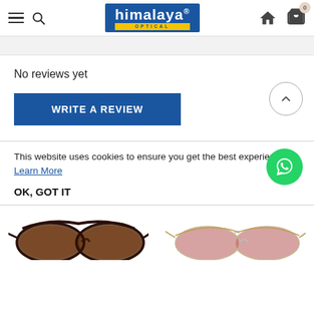himalaya OPTICAL — navigation header with menu, search, logo, home, and cart icons
No reviews yet
WRITE A REVIEW
This website uses cookies to ensure you get the best experience. Learn More
OK, GOT IT
[Figure (photo): Two product photos of sunglasses at the bottom: left pair brown tortoiseshell frame, right pair rimless aviator style with pink-tinted lenses]